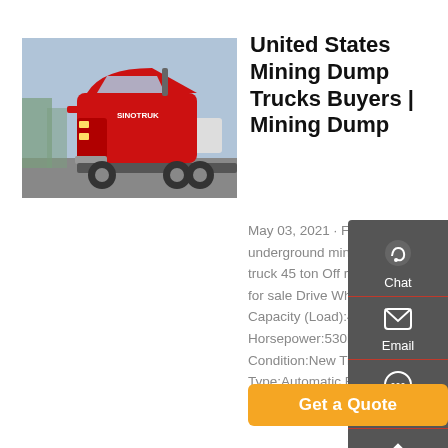[Figure (photo): Red mining dump truck / heavy truck photographed outdoors]
United States Mining Dump Trucks Buyers | Mining Dump
May 03, 2021 · Factory supply underground mining rigid dump truck 45 ton Off road dump truck for sale Drive Wheel:4x2 Capacity (Load):41 - 50t Horsepower:530hp Condition:New Transmission Type:Automatic Emission Standa
Get a Quote